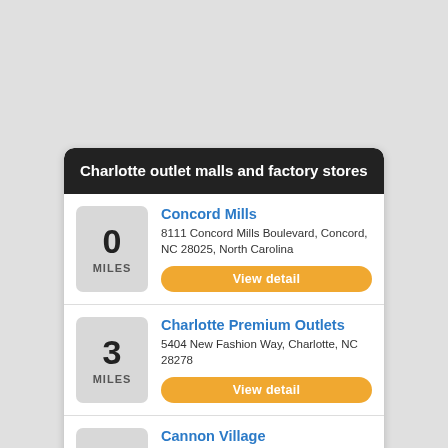Charlotte outlet malls and factory stores
0 MILES — Concord Mills — 8111 Concord Mills Boulevard, Concord, NC 28025, North Carolina
3 MILES — Charlotte Premium Outlets — 5404 New Fashion Way, Charlotte, NC 28278
11 MILES — Cannon Village — 200 West Ave, Kannapolis, NC 28083, North Carolina